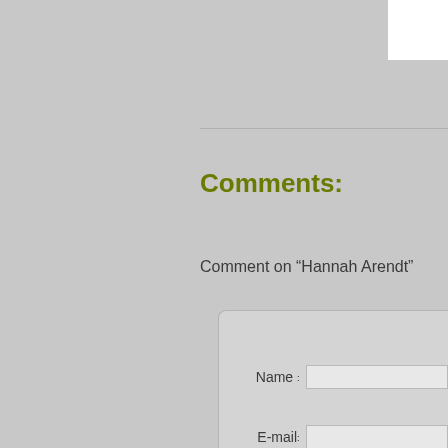Comments:
Comment on “Hannah Arendt”
[Figure (screenshot): A comment form with fields for Name, E-mail, Website, and a textarea for the comment body. The form has a rounded top-left corner and sits on a gray background.]